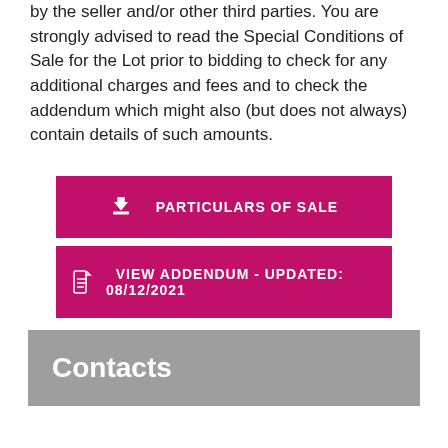by the seller and/or other third parties. You are strongly advised to read the Special Conditions of Sale for the Lot prior to bidding to check for any additional charges and fees and to check the addendum which might also (but does not always) contain details of such amounts.
PARTICULARS OF SALE
VIEW ADDENDUM - UPDATED: 08/12/2021
Contacts